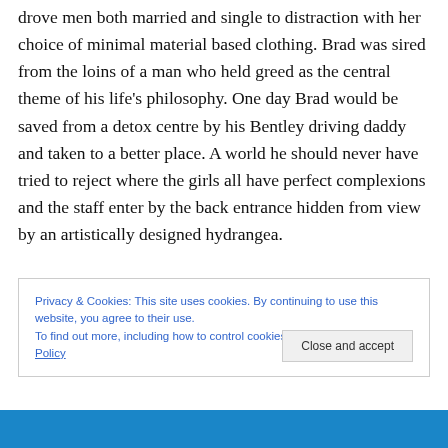drove men both married and single to distraction with her choice of minimal material based clothing. Brad was sired from the loins of a man who held greed as the central theme of his life's philosophy. One day Brad would be saved from a detox centre by his Bentley driving daddy and taken to a better place. A world he should never have tried to reject where the girls all have perfect complexions and the staff enter by the back entrance hidden from view by an artistically designed hydrangea.
Privacy & Cookies: This site uses cookies. By continuing to use this website, you agree to their use. To find out more, including how to control cookies, see here: Cookie Policy
Close and accept